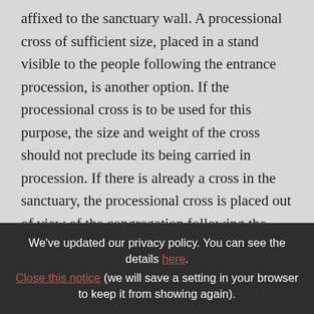affixed to the sanctuary wall. A processional cross of sufficient size, placed in a stand visible to the people following the entrance procession, is another option. If the processional cross is to be used for this purpose, the size and weight of the cross should not preclude its being carried in procession. If there is already a cross in the sanctuary, the processional cross is placed out of view of the congregation following the
We've updated our privacy policy. You can see the details here. Close this notice (we will save a setting in your browser to keep it from showing again).